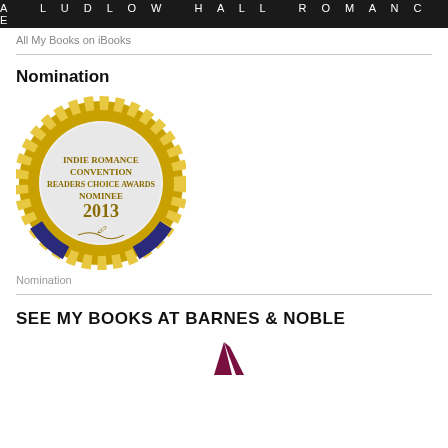[Figure (illustration): Dark banner with text 'A LUDLOW HALL ROMANCE' in white spaced letters]
All My Books on iBooks
Nomination
[Figure (illustration): Circular gold medal badge with blue ribbon sections reading 'INDIE ROMANCE CONVENTION READERS CHOICE AWARDS NOMINEE 2013' with a signature]
Nomination
SEE MY BOOKS AT BARNES & NOBLE
[Figure (logo): Barnes & Noble partial logo mark in dark red/maroon]